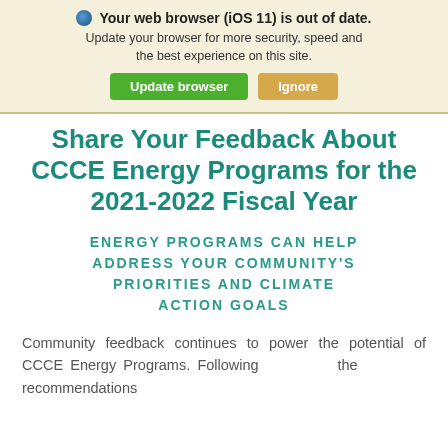🌐 Your web browser (iOS 11) is out of date. Update your browser for more security, speed and the best experience on this site. [Update browser] [Ignore]
Share Your Feedback About CCCE Energy Programs for the 2021-2022 Fiscal Year
ENERGY PROGRAMS CAN HELP ADDRESS YOUR COMMUNITY'S PRIORITIES AND CLIMATE ACTION GOALS
Community feedback continues to power the potential of CCCE Energy Programs. Following the recommendations